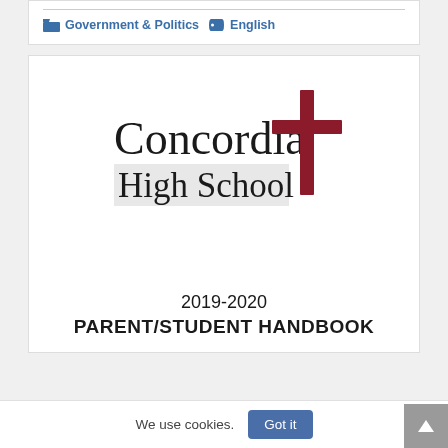Government & Politics  English
[Figure (logo): Concordia High School logo with red cross, text reads 'Concordia High School']
2019-2020 PARENT/STUDENT HANDBOOK
We use cookies.
Got it